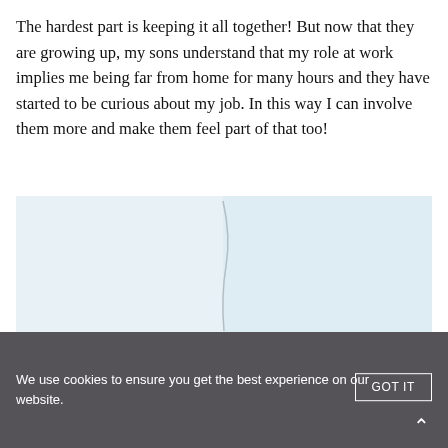The hardest part is keeping it all together! But now that they are growing up, my sons understand that my role at work implies me being far from home for many hours and they have started to be curious about my job. In this way I can involve them more and make them feel part of that too!
[Figure (photo): A light blue-gray image area showing a faint curved vertical line/seam in the center, suggesting a two-panel photograph of an outdoor or interior scene, mostly white/light blue.]
We use cookies to ensure you get the best experience on our website.